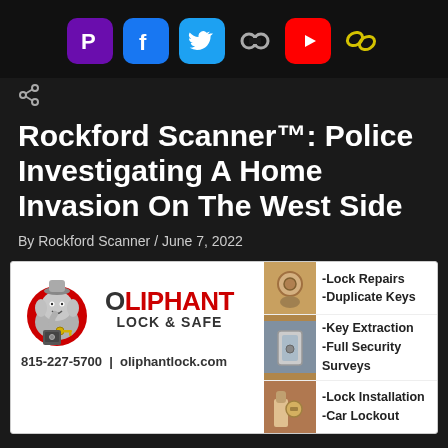[Figure (other): Social media icon bar: PayPal, Facebook, Twitter, chain link, YouTube, chain link icons]
[Figure (other): Share button icon]
Rockford Scanner™: Police Investigating A Home Invasion On The West Side
By Rockford Scanner / June 7, 2022
[Figure (other): Oliphant Lock & Safe advertisement. Logo with elephant mascot. Phone: 815-227-5700 | oliphantlock.com. Services: Lock Repairs, Duplicate Keys, Key Extraction, Full Security Surveys, Lock Installation, Car Lockout]